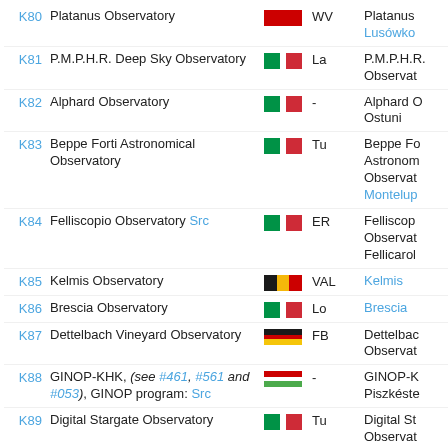| Code | Name | Flag | Region | Right Column |
| --- | --- | --- | --- | --- |
| K80 | Platanus Observatory | [WV flag] | WV | Platanus
Lusówko |
| K81 | P.M.P.H.R. Deep Sky Observatory | [IT flag] | La | P.M.P.H.R. Observat |
| K82 | Alphard Observatory | [IT flag] | - | Alphard O
Ostuni |
| K83 | Beppe Forti Astronomical Observatory | [IT flag] | Tu | Beppe Fo
Astronom
Observat
Montelup |
| K84 | Felliscopio Observatory Src | [IT flag] | ER | Felliscop
Observat
Fellicarol |
| K85 | Kelmis Observatory | [BE flag] | VAL | Kelmis |
| K86 | Brescia Observatory | [IT flag] | Lo | Brescia |
| K87 | Dettelbach Vineyard Observatory | [DE flag] | FB | Dettelbac
Observat |
| K88 | GINOP-KHK, (see #461, #561 and #053), GINOP program: Src | [HU flag] | - | GINOP-K
Piszkéste |
| K89 | Digital Stargate Observatory | [IT flag] | Tu | Digital St
Observat |
| K90 | Sopot Astronomical Observatory | [RS flag] | - | Sopot As
Observat |